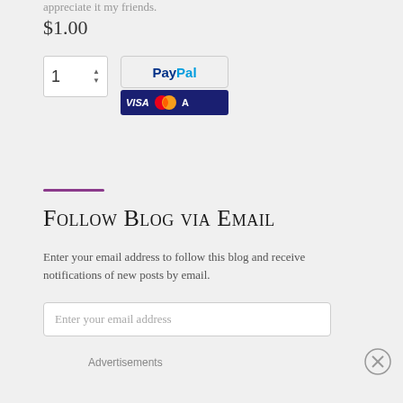appreciate it my friends.
$1.00
[Figure (screenshot): Quantity selector with value 1 and up/down arrows, next to a PayPal checkout button and Visa/Mastercard payment icons]
Follow Blog via Email
Enter your email address to follow this blog and receive notifications of new posts by email.
Enter your email address
Advertisements